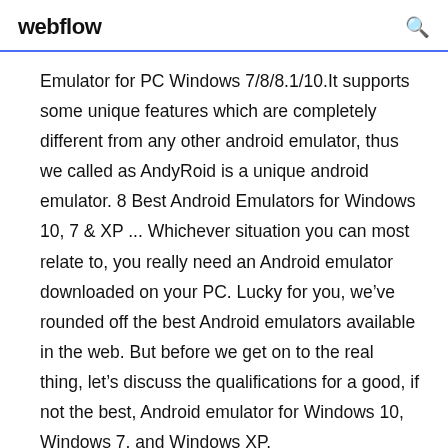webflow
Emulator for PC Windows 7/8/8.1/10.It supports some unique features which are completely different from any other android emulator, thus we called as AndyRoid is a unique android emulator. 8 Best Android Emulators for Windows 10, 7 & XP ... Whichever situation you can most relate to, you really need an Android emulator downloaded on your PC. Lucky for you, we’ve rounded off the best Android emulators available in the web. But before we get on to the real thing, let’s discuss the qualifications for a good, if not the best, Android emulator for Windows 10, Windows 7, and Windows XP.